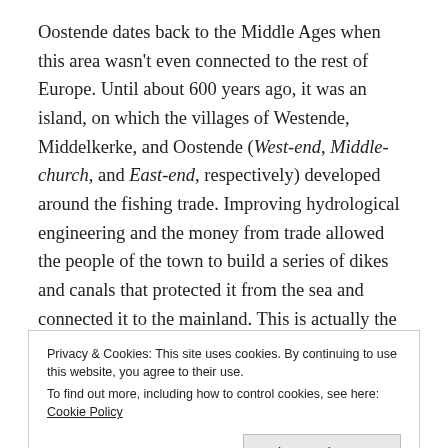Oostende dates back to the Middle Ages when this area wasn't even connected to the rest of Europe. Until about 600 years ago, it was an island, on which the villages of Westende, Middelkerke, and Oostende (West-end, Middle-church, and East-end, respectively) developed around the fishing trade. Improving hydrological engineering and the money from trade allowed the people of the town to build a series of dikes and canals that protected it from the sea and connected it to the mainland. This is actually the second time I've lived in a strategic Medieval trading post. Visby constantly changed hands as it was the central port for trade across
Privacy & Cookies: This site uses cookies. By continuing to use this website, you agree to their use.
To find out more, including how to control cookies, see here: Cookie Policy
Close and accept
Years' War, which culminated in Dutch independence